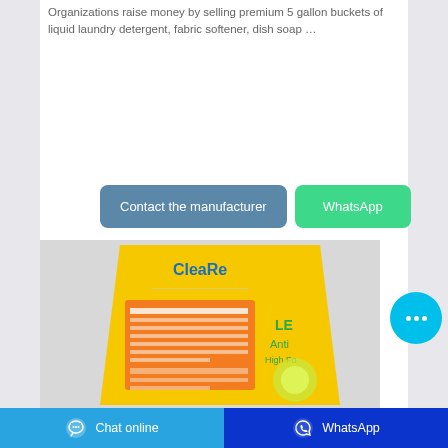Organizations raise money by selling premium 5 gallon buckets of liquid laundry detergent, fabric softener, dish soap …
[Figure (other): Two buttons: a steel-blue 'Contact the manufacturer' button and a green 'WhatsApp' button]
[Figure (photo): Product photo of a yellow detergent package labeled 'CleaRe' with orange label panel and green branding showing 'LE... Anti... High F...']
Chat online    WhatsApp